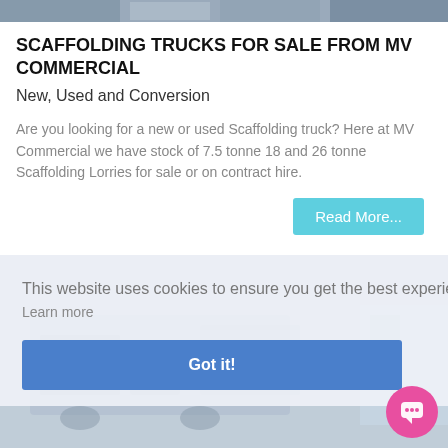[Figure (photo): Top strip showing partial view of scaffolding trucks in grey/blue tones]
SCAFFOLDING TRUCKS FOR SALE FROM MV COMMERCIAL
New, Used and Conversion
Are you looking for a new or used Scaffolding truck? Here at MV Commercial we have stock of 7.5 tonne 18 and 26 tonne Scaffolding Lorries for sale or on contract hire.
Read More...
[Figure (photo): Background image of scaffolding trucks (greyed out behind cookie banner)]
This website uses cookies to ensure you get the best experience on our website.
Learn more
Got it!